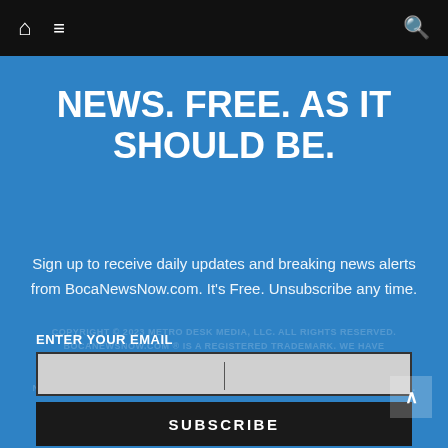Home | Menu | Search
NEWS. FREE. AS IT SHOULD BE.
Sign up to receive daily updates and breaking news alerts from BocaNewsNow.com. It's Free. Unsubscribe any time.
ENTER YOUR EMAIL
SUBSCRIBE
You must click the link in your email to